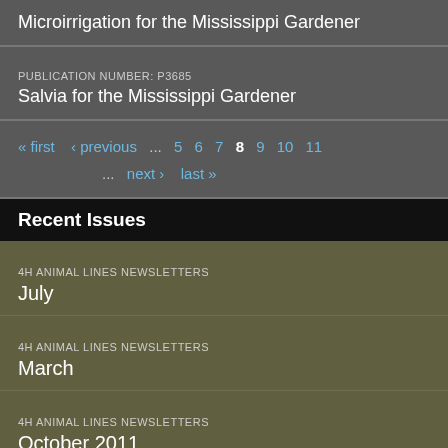Microirrigation for the Mississippi Gardener
PUBLICATION NUMBER: P3685
Salvia for the Mississippi Gardener
« first  ‹ previous  ...  5  6  7  8  9  10  11  ...  next ›  last »
Recent Issues
4H ANIMAL LINES NEWSLETTERS
July
4H ANIMAL LINES NEWSLETTERS
March
4H ANIMAL LINES NEWSLETTERS
October 2011